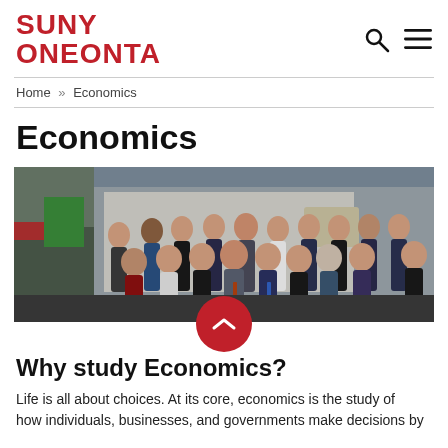SUNY ONEONTA
Home » Economics
Economics
[Figure (photo): Group photo of SUNY Oneonta Economics students posing together indoors, approximately 18 students in business and casual attire]
Why study Economics?
Life is all about choices. At its core, economics is the study of how individuals, businesses, and governments make decisions by